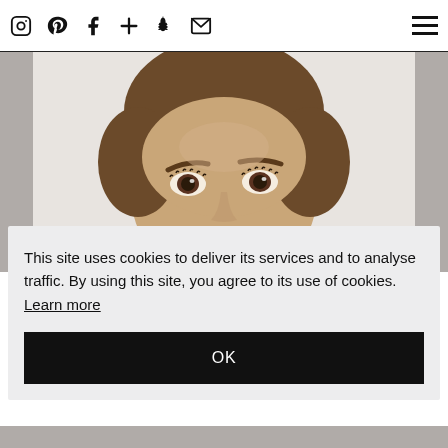Social icons: Instagram, Pinterest, Facebook, Plus, Snapchat, Email — Hamburger menu
[Figure (photo): Close-up photo of a young woman's face with natural curly hair, looking forward, neutral expression, white/light grey background. The image shows her eyes, brows, and upper head prominently.]
This site uses cookies to deliver its services and to analyse traffic. By using this site, you agree to its use of cookies.  Learn more
OK